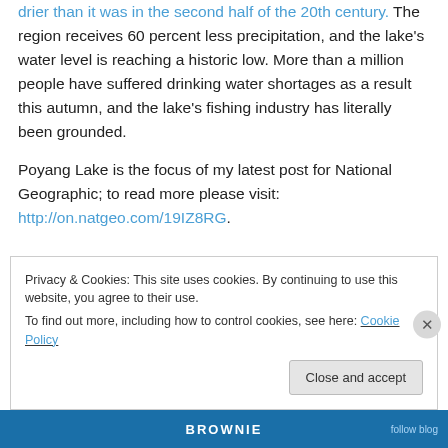drier than it was in the second half of the 20th century. The region receives 60 percent less precipitation, and the lake's water level is reaching a historic low. More than a million people have suffered drinking water shortages as a result this autumn, and the lake's fishing industry has literally been grounded.
Poyang Lake is the focus of my latest post for National Geographic; to read more please visit: http://on.natgeo.com/19IZ8RG.
Privacy & Cookies: This site uses cookies. By continuing to use this website, you agree to their use.
To find out more, including how to control cookies, see here: Cookie Policy